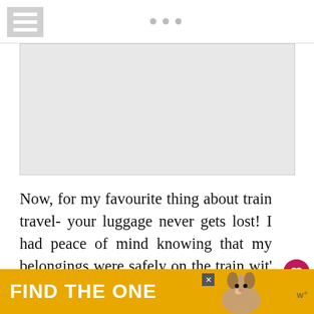Navigation header with hamburger menu and dot navigation
[Figure (photo): Placeholder image area (light gray rectangle)]
Now, for my favourite thing about train travel- your luggage never gets lost! I had peace of mind knowing that my belongings were safely on the train with me, always within my view. Trains have
[Figure (other): Advertisement banner: FIND THE ONE with a dog image and close button, gold/yellow background]